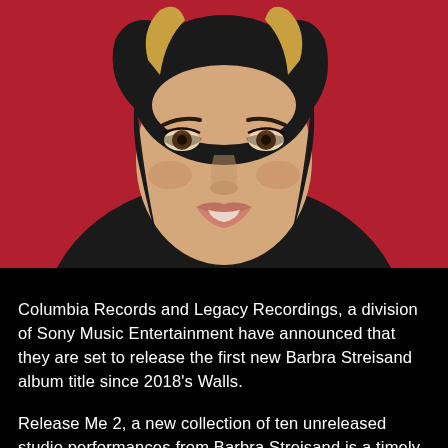[Figure (illustration): Pop-art style vector illustration of Barbra Streisand — stylized portrait with dark bob haircut with blonde highlights, on a deep red background. The face is rendered in flat graphic style with dark eyes, defined brows, and subtle smile.]
Columbia Records and Legacy Recordings, a division of Sony Music Entertainment have announced that they are set to release the first new Barbra Streisand album title since 2018's Walls.
Release Me 2, a new collection of ten unreleased studio performances from Barbra Streisand is a timely successor to her successful 2012 album Release Me.